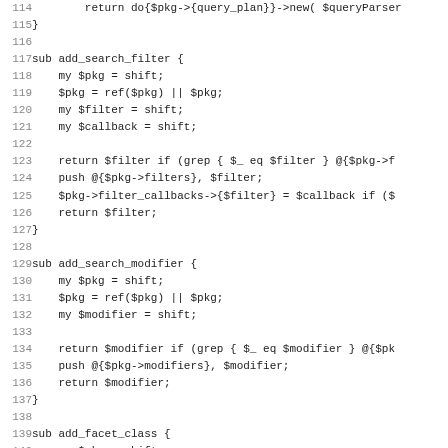Code listing showing Perl subroutines: add_search_filter, add_search_modifier, add_facet_class with line numbers 114-146